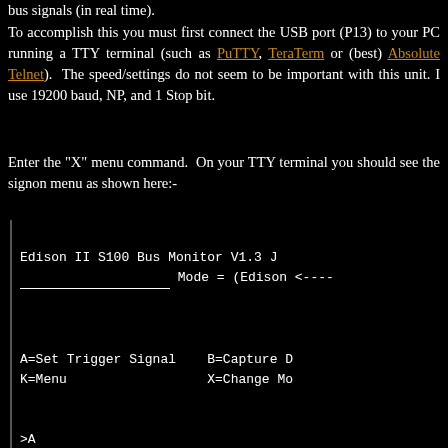bus signals (in real time).
To accomplish this you must first connect the USB port (P13) to your PC running a TTY terminal (such as PuTTY, TeraTerm or (best) Absolute Telnet). The speed/settings do not seem to be important with this unit. I use 19200 baud, NP, and 1 Stop bit.
Enter the "X" menu command. On your TTY terminal you should see the signon menu as shown here:-
[Figure (screenshot): Terminal screenshot showing Edison II S100 Bus Monitor V1.3 menu with options A=Set Trigger Signal, B=Capture D, K=Menu, X=Change Mo, prompt >A, and Select Trigger Menu with entry 1 sINP (S100 bus High, P...]